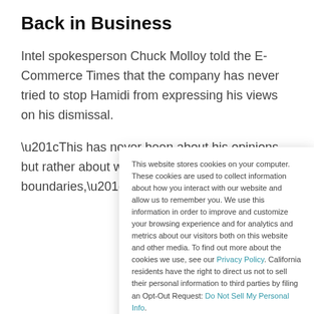Back in Business
Intel spokesperson Chuck Molloy told the E-Commerce Times that the company has never tried to stop Hamidi from expressing his views on his dismissal.
“This has never been about his opinions, but rather about what we think is our property boundaries,” Molloy said, adding that
This website stores cookies on your computer. These cookies are used to collect information about how you interact with our website and allow us to remember you. We use this information in order to improve and customize your browsing experience and for analytics and metrics about our visitors both on this website and other media. To find out more about the cookies we use, see our Privacy Policy. California residents have the right to direct us not to sell their personal information to third parties by filing an Opt-Out Request: Do Not Sell My Personal Info.